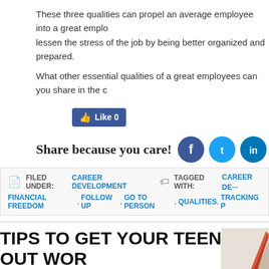These three qualities can propel an average employee into a great employ lessen the stress of the job by being better organized and prepared.
What other essential qualities of a great employees can you share in the c
[Figure (other): Facebook Like button showing 0 likes]
Share because you care!
[Figure (infographic): Social sharing icons: Facebook, Twitter, LinkedIn, Pinterest, Email]
FILED UNDER: CAREER DEVELOPMENT  TAGGED WITH: CAREER DE FINANCIAL FREEDOM, FOLLOW UP, GO TO PERSON, QUALITIES, TRACKING P
TIPS TO GET YOUR TEENS OUT WOR SUMMER
MAY 1, 2015 BY ADMIN  LEAVE A COMMENT
Want to help give your teens an edge on landing a job? The competition during the summer months can be tough. Have them well prepared with these tips:
[Figure (photo): Partial image on bottom right, appears to show a red plant/flower]